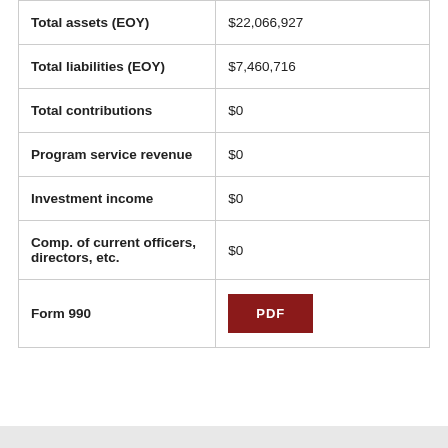| Field | Value |
| --- | --- |
| Total assets (EOY) | $22,066,927 |
| Total liabilities (EOY) | $7,460,716 |
| Total contributions | $0 |
| Program service revenue | $0 |
| Investment income | $0 |
| Comp. of current officers, directors, etc. | $0 |
| Form 990 | PDF |